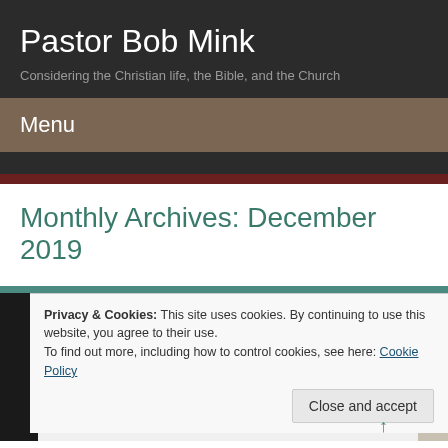Pastor Bob Mink
Considering the Christian life, the Bible, and the Church
Menu
Monthly Archives: December 2019
Privacy & Cookies: This site uses cookies. By continuing to use this website, you agree to their use.
To find out more, including how to control cookies, see here: Cookie Policy
Close and accept